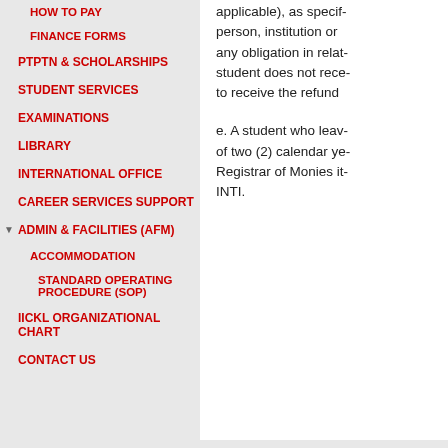HOW TO PAY
FINANCE FORMS
PTPTN & SCHOLARSHIPS
STUDENT SERVICES
EXAMINATIONS
LIBRARY
INTERNATIONAL OFFICE
CAREER SERVICES SUPPORT
ADMIN & FACILITIES (AFM)
ACCOMMODATION
STANDARD OPERATING PROCEDURE (SOP)
IICKL ORGANIZATIONAL CHART
CONTACT US
applicable), as specif- person, institution or any obligation in relat- student does not rece- to receive the refund
e. A student who leav- of two (2) calendar ye- Registrar of Monies it- INTI.